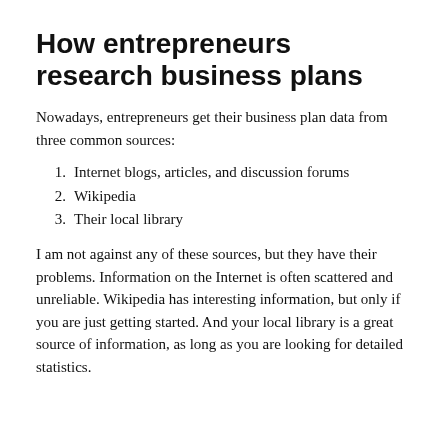How entrepreneurs research business plans
Nowadays, entrepreneurs get their business plan data from three common sources:
Internet blogs, articles, and discussion forums
Wikipedia
Their local library
I am not against any of these sources, but they have their problems. Information on the Internet is often scattered and unreliable. Wikipedia has interesting information, but only if you are just getting started. And your local library is a great source of information, as long as you are looking for detailed statistics.